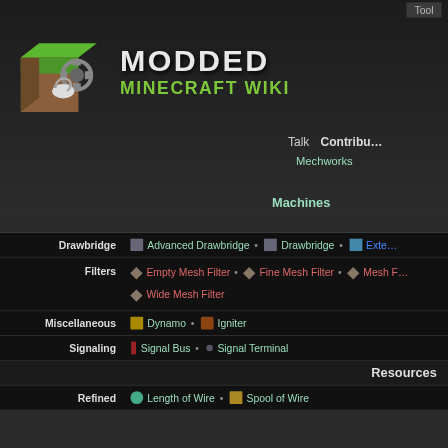Modded Minecraft Wiki — Tool | Talk | Contribute | Mechworks | Machines
[Figure (logo): Modded Minecraft Wiki logo: Minecraft dirt/grass cube with gears and snail, with stylized 'MODDED MINECRAFT WIKI' text]
| Category | Items |
| --- | --- |
| Drawbridge | Advanced Drawbridge • Drawbridge • Exte… |
| Filters | Empty Mesh Filter • Fine Mesh Filter • Mesh F… • Wide Mesh Filter |
| Miscellaneous | Dynamo • Igniter |
| Signaling | Signal Bus • Signal Terminal |
Resources
| Category | Items |
| --- | --- |
| Refined | Length of Wire • Spool of Wire |
Category: Tinkers' Mechworks
Privacy policy   About Modded Minecraft Wiki   Disclaimers